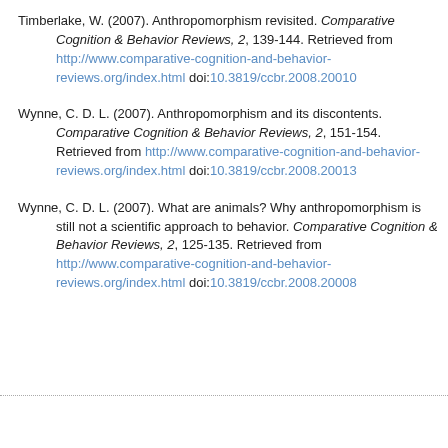Timberlake, W. (2007). Anthropomorphism revisited. Comparative Cognition & Behavior Reviews, 2, 139-144. Retrieved from http://www.comparative-cognition-and-behavior-reviews.org/index.html doi:10.3819/ccbr.2008.20010
Wynne, C. D. L. (2007). Anthropomorphism and its discontents. Comparative Cognition & Behavior Reviews, 2, 151-154. Retrieved from http://www.comparative-cognition-and-behavior-reviews.org/index.html doi:10.3819/ccbr.2008.20013
Wynne, C. D. L. (2007). What are animals? Why anthropomorphism is still not a scientific approach to behavior. Comparative Cognition & Behavior Reviews, 2, 125-135. Retrieved from http://www.comparative-cognition-and-behavior-reviews.org/index.html doi:10.3819/ccbr.2008.20008